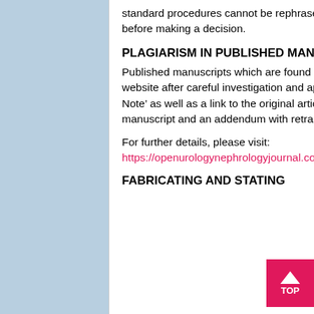standard procedures cannot be rephrased; therefore Editors must review these sections carefully before making a decision.
PLAGIARISM IN PUBLISHED MANUSCRIPTS:
Published manuscripts which are found to contain plagiarized text are retracted from the journal website after careful investigation and approval by the Editor-in-Chief of the journal. A ‘Retraction Note’ as well as a link to the original article is published on the electronic version of the plagiarized manuscript and an addendum with retraction notification in the journal concerned.
For further details, please visit:
https://openurologynephrologyjournal.com/misconduct.php
FABRICATING AND STATING